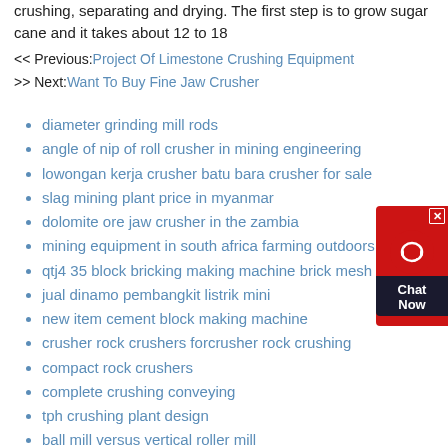crushing, separating and drying. The first step is to grow sugar cane and it takes about 12 to 18
<< Previous: Project Of Limestone Crushing Equipment
>> Next: Want To Buy Fine Jaw Crusher
diameter grinding mill rods
angle of nip of roll crusher in mining engineering
lowongan kerja crusher batu bara crusher for sale
slag mining plant price in myanmar
dolomite ore jaw crusher in the zambia
mining equipment in south africa farming outdoors
qtj4 35 block bricking making machine brick mesh machine
jual dinamo pembangkit listrik mini
new item cement block making machine
crusher rock crushers forcrusher rock crushing
compact rock crushers
complete crushing conveying
tph crushing plant design
ball mill versus vertical roller mill
crusher manganese plantmanganese
[Figure (infographic): Chat Now customer support widget button with headset icon, red background, dark label area reading Chat Now, and close X button in top right corner]